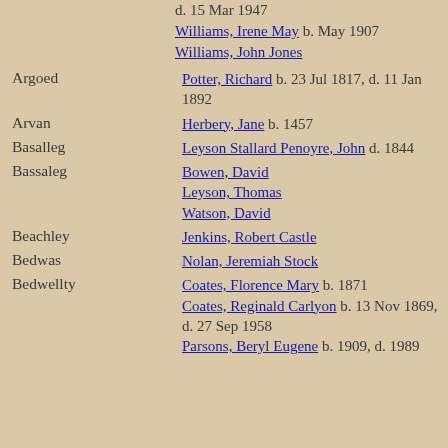d. 15 Mar 1947
Williams, Irene May b. May 1907
Williams, John Jones
Argoed
Potter, Richard b. 23 Jul 1817, d. 11 Jan 1892
Arvan
Herbery, Jane b. 1457
Basalleg
Leyson Stallard Penoyre, John d. 1844
Bassaleg
Bowen, David
Leyson, Thomas
Watson, David
Beachley
Jenkins, Robert Castle
Bedwas
Nolan, Jeremiah Stock
Bedwellty
Coates, Florence Mary b. 1871
Coates, Reginald Carlyon b. 13 Nov 1869, d. 27 Sep 1958
Parsons, Beryl Eugene b. 1909, d. 1989